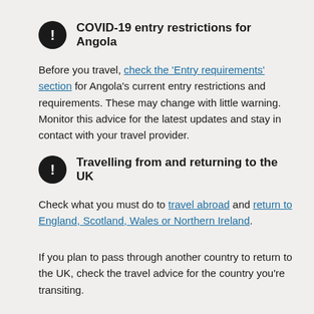COVID-19 entry restrictions for Angola
Before you travel, check the 'Entry requirements' section for Angola's current entry restrictions and requirements. These may change with little warning. Monitor this advice for the latest updates and stay in contact with your travel provider.
Travelling from and returning to the UK
Check what you must do to travel abroad and return to England, Scotland, Wales or Northern Ireland.
If you plan to pass through another country to return to the UK, check the travel advice for the country you're transiting.